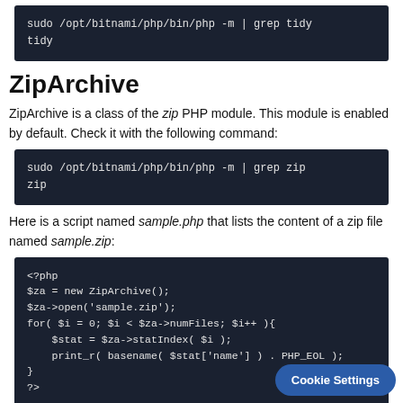[Figure (screenshot): Dark terminal code block showing: sudo /opt/bitnami/php/bin/php -m | grep tidy
tidy]
ZipArchive
ZipArchive is a class of the zip PHP module. This module is enabled by default. Check it with the following command:
[Figure (screenshot): Dark terminal code block showing: sudo /opt/bitnami/php/bin/php -m | grep zip
zip]
Here is a script named sample.php that lists the content of a zip file named sample.zip:
[Figure (screenshot): Dark code block showing PHP script:
<?php
$za = new ZipArchive();
$za->open('sample.zip');
for( $i = 0; $i < $za->numFiles; $i++ ){
    $stat = $za->statIndex( $i );
    print_r( basename( $stat['name'] ) . PHP_EOL );
}
?>]